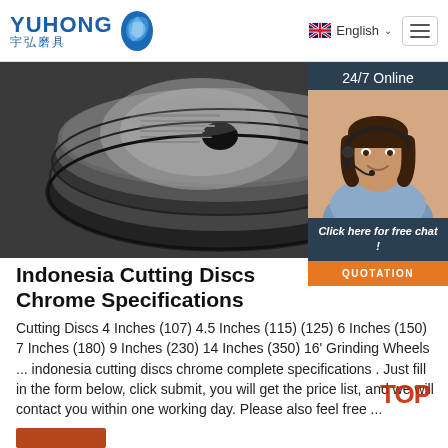YUHONG 宇弘磨具 — English navigation header
[Figure (photo): Close-up photo of stacked grinding/cutting discs (abrasive wheels) showing dark circular discs with printed labels]
[Figure (photo): 24/7 Online chat panel with woman wearing headset, 'Click here for free chat!' and QUOTATION button]
Indonesia Cutting Discs Chrome Specifications
Cutting Discs 4 Inches (107) 4.5 Inches (115) (125) 6 Inches (150) 7 Inches (180) 9 Inches (230) 14 Inches (350) 16' Grinding Wheels ... indonesia cutting discs chrome complete specifications . Just fill in the form below, click submit, you will get the price list, and we will contact you within one working day. Please also feel free ...